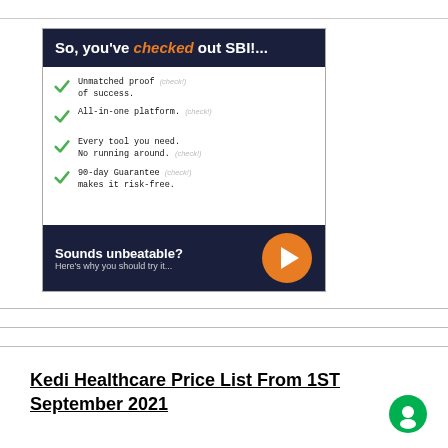[Figure (infographic): SBI advertisement box with dark navy header 'So, you've checked out SBI!...', checklist items with green checkmarks and (check!) annotations, and dark footer with 'Sounds unbeatable? Here's why you should try it...' and orange play button.]
Kedi Healthcare Price List From 1ST September 2021